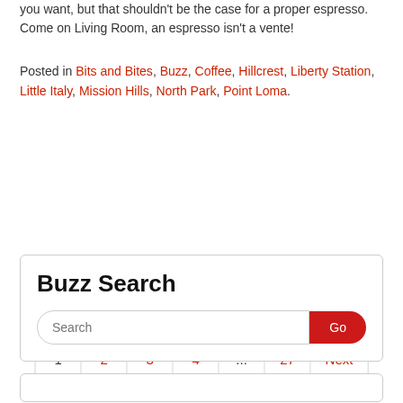you want, but that shouldn't be the case for a proper espresso. Come on Living Room, an espresso isn't a vente!
Posted in Bits and Bites, Buzz, Coffee, Hillcrest, Liberty Station, Little Italy, Mission Hills, North Park, Point Loma.
Pagination: 1 2 3 4 ... 27 Next »
Buzz Search
Search [Go button]